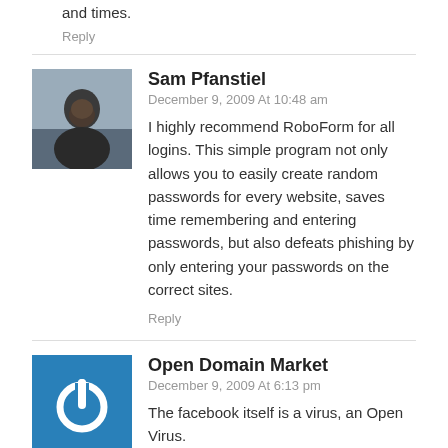and times.
Reply
Sam Pfanstiel
December 9, 2009 At 10:48 am
I highly recommend RoboForm for all logins. This simple program not only allows you to easily create random passwords for every website, saves time remembering and entering passwords, but also defeats phishing by only entering your passwords on the correct sites.
Reply
Open Domain Market
December 9, 2009 At 6:13 pm
The facebook itself is a virus, an Open Virus.
Reply